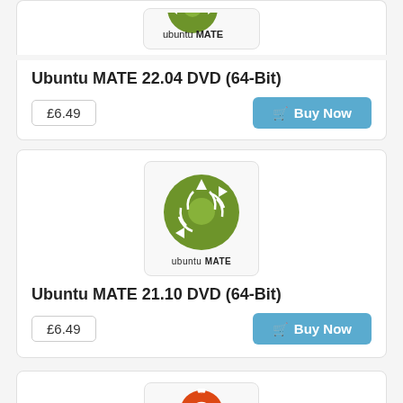[Figure (logo): Ubuntu MATE logo (green circle with arrows, text 'ubuntu MATE') — top of page, partially visible]
Ubuntu MATE 22.04 DVD (64-Bit)
£6.49
Buy Now
[Figure (logo): Ubuntu MATE logo — green circular logo with arrows and text 'ubuntu MATE']
Ubuntu MATE 21.10 DVD (64-Bit)
£6.49
Buy Now
[Figure (logo): Ubuntu logo (red circle with Ubuntu symbol) and text 'ubuntu' — partially visible at bottom]